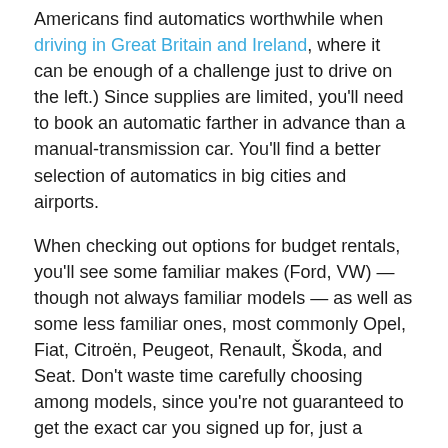Americans find automatics worthwhile when driving in Great Britain and Ireland, where it can be enough of a challenge just to drive on the left.) Since supplies are limited, you'll need to book an automatic farther in advance than a manual-transmission car. You'll find a better selection of automatics in big cities and airports.
When checking out options for budget rentals, you'll see some familiar makes (Ford, VW) — though not always familiar models — as well as some less familiar ones, most commonly Opel, Fiat, Citroën, Peugeot, Renault, Škoda, and Seat. Don't waste time carefully choosing among models, since you're not guaranteed to get the exact car you signed up for, just a "similar" model.
I normally rent the smallest, least-expensive model with a stick shift — not just to save money, but because larger cars are not as maneuverable on Europe's narrow, winding roads. If more than two adults are traveling, it can be worth it to move up to a larger class of car.
Choosing a Pick-Up and Drop-Off: Places and Tips